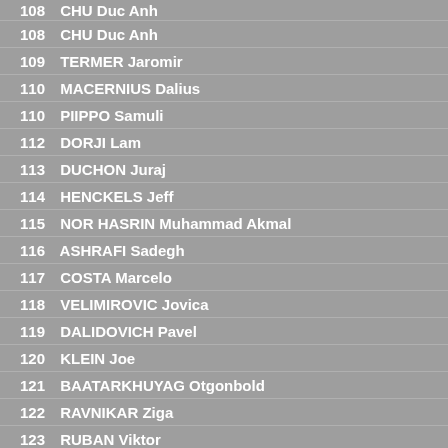108 CHU Duc Anh
109 TERMER Jaromir
110 MACERNIUS Dalius
110 PIIPPO Samuli
112 DORJI Lam
113 DUCHON Juraj
114 HENCKELS Jeff
115 NOR HASRIN Muhammad Akmal
116 ASHRAFI Sadegh
117 COSTA Marcelo
118 VELIMIROVIC Jovica
119 DALIDOVICH Pavel
120 KLEIN Joe
121 BAATARKHUYAG Otgonbold
122 RAVNIKAR Ziga
123 RUBAN Viktor
124 D'AMOUR Nicholas